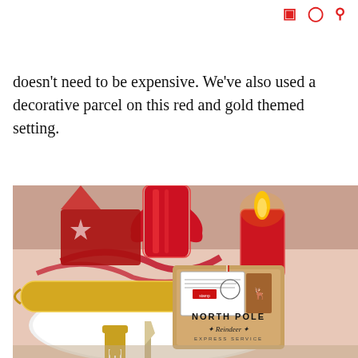[Instagram icon] [Pinterest icon] [Search icon]
doesn't need to be expensive. We've also used a decorative parcel on this red and gold themed setting.
[Figure (photo): A Christmas table setting featuring a gold cracker, red Christmas cracker, a glowing red LED candle, red ribbon decorations, and a kraft paper gift tag labeled 'NORTH POLE Reindeer Express Service' tied with red and white twine, placed on white plates with gold cutlery (fork and knife) in the foreground.]